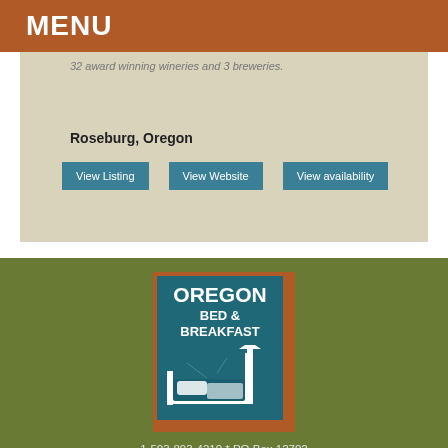MENU
32 award winning wineries and 3 breweries.
Roseburg, Oregon
View Listing | View Website | View availability
[Figure (logo): Oregon Bed & Breakfast logo with teal background, white text reading OREGON BED & BREAKFAST and an illustration of a bed with a lamp]
1-503-893-4210 * PO Box 12702 Salem, OR 97309 * stay@obbg.org
Website Promotion, Design and Hosting by InsideOut Solutions